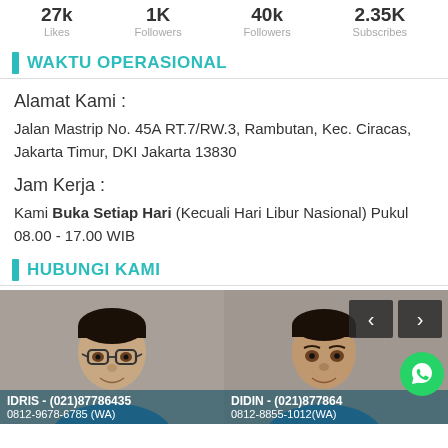27k Likes | 1K Followers | 40K Followers | 2.35K Subscribes
WAKTU OPERASIONAL
Alamat Kami :
Jalan Mastrip No. 45A RT.7/RW.3, Rambutan, Kec. Ciracas, Jakarta Timur, DKI Jakarta 13830
Jam Kerja :
Kami Buka Setiap Hari (Kecuali Hari Libur Nasional) Pukul 08.00 - 17.00 WIB
HUBUNGI KAMI
[Figure (photo): Photo of IDRIS with contact info: (021)87786435, 0812-9678-6785 (WA)]
[Figure (photo): Photo of DIDIN with contact info: (021)877864, 0812-8855-1012(WA)]